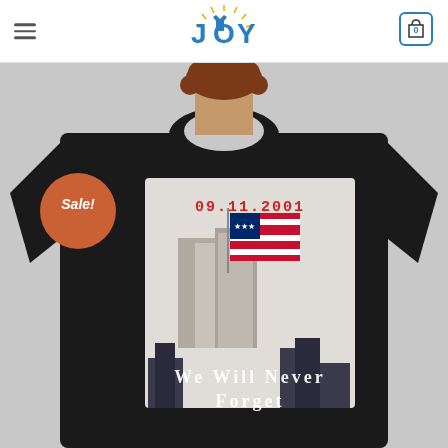JOY (logo with shopping cart icon showing 0 items)
[Figure (photo): E-commerce product page screenshot showing a woman wearing a black t-shirt with a 9/11 memorial graphic (date 09.11.2001, Twin Towers with American flag, text 'We Will Never Forget'). A red/orange Sale! badge is overlaid on the product photo. The site header shows the JOY logo in blue/orange and a shopping cart with 0 items.]